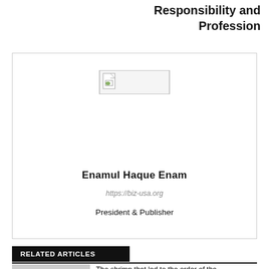Responsibility and Profession
[Figure (photo): Broken/missing image placeholder icon inside a white card box]
Enamul Haque Enam
https://biz-usa.org
President & Publisher
RELATED ARTICLES
The shrimp that led to the order of the